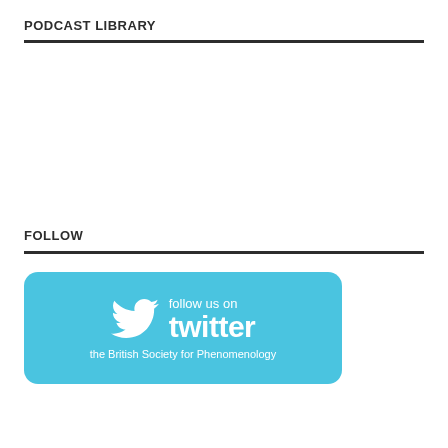PODCAST LIBRARY
FOLLOW
[Figure (infographic): A light blue rounded rectangle button with a Twitter bird logo on the left, the text 'follow us on' above 'twitter' in large bold font, and below 'the British Society for Phenomenology' in smaller text. All text and the bird icon are white on a sky-blue background.]